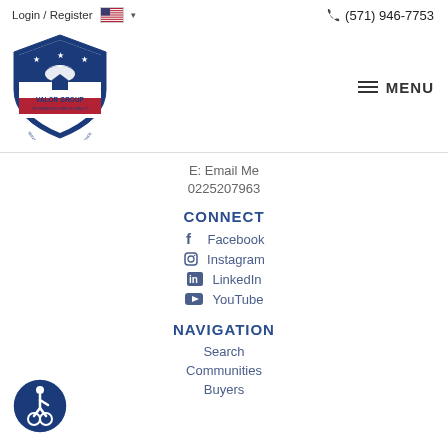Login / Register  (571) 946-7753
[Figure (logo): Valor Group of Pearson Smith Realty shield logo with eagle]
MENU
E: Email Me
0225207963
CONNECT
Facebook
Instagram
LinkedIn
YouTube
NAVIGATION
Search
Communities
Buyers
[Figure (illustration): Accessibility icon - blue circle with wheelchair user symbol]